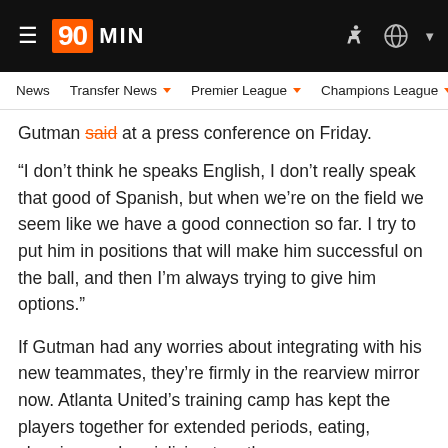90MIN
News  Transfer News  Premier League  Champions League  Eu
Gutman said at a press conference on Friday.
“I don’t think he speaks English, I don’t really speak that good of Spanish, but when we’re on the field we seem like we have a good connection so far. I try to put him in positions that will make him successful on the ball, and then I’m always trying to give him options.”
If Gutman had any worries about integrating with his new teammates, they’re firmly in the rearview mirror now. Atlanta United’s training camp has kept the players together for extended periods, eating, sleeping, and socializing together.
“When you’re around the team for two weeks straight in a hotel, eating meals together, training together, going for coffee together, that’s the only interaction you have with people,” he said. “So I think it’s been helpful for me to get to